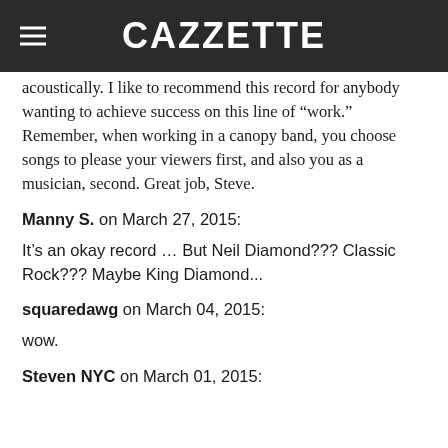CAZZETTE
acoustically. I like to recommend this record for anybody wanting to achieve success on this line of “work.” Remember, when working in a canopy band, you choose songs to please your viewers first, and also you as a musician, second. Great job, Steve.
Manny S. on March 27, 2015:
It’s an okay record … But Neil Diamond??? Classic Rock??? Maybe King Diamond...
squaredawg on March 04, 2015:
wow.
Steven NYC on March 01, 2015: